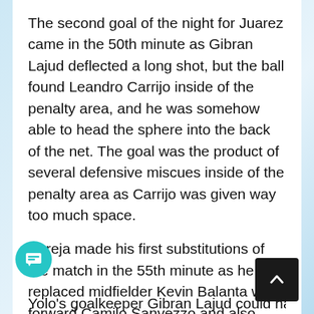The second goal of the night for Juarez came in the 50th minute as Gibran Lajud deflected a long shot, but the ball found Leandro Carrijo inside of the penalty area, and he was somehow able to head the sphere into the back of the net. The goal was the product of several defensive miscues inside of the penalty area as Carrijo was given way too much space.
Pareja made his first substitutions of the match in the 55th minute as he replaced midfielder Kevin Balanta with forward Camilo Sanvezzo and also took off Jorge Rojas for Mauro Lainez, but it was too late at this point. FC Juarez made it 3-0 in the 57th minute as Jefferson Intriago scored off a [obscured] k.
Yolo's goalkeeper Gibran Lajud could have arguably